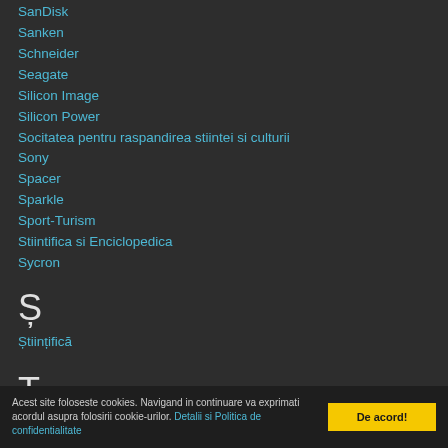SanDisk
Sanken
Schneider
Seagate
Silicon Image
Silicon Power
Socitatea pentru raspandirea stiintei si culturii
Sony
Spacer
Sparkle
Sport-Turism
Stiintifica si Enciclopedica
Sycron
Ș
Științifică
T
Acest site foloseste cookies. Navigand in continuare va exprimati acordul asupra folosirii cookie-urilor. Detalii si Politica de confidentialitate